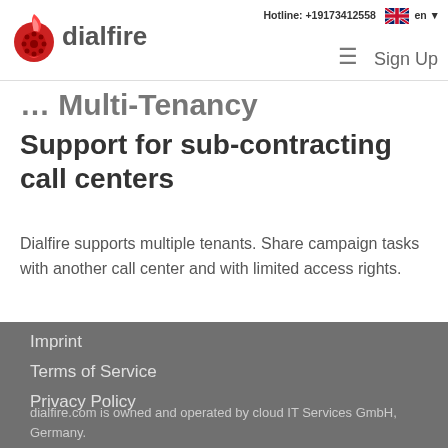Hotline: +19173412558  en  ☰  Sign Up
... Multi-Tenancy
Support for sub-contracting call centers
Dialfire supports multiple tenants. Share campaign tasks with another call center and with limited access rights.
Imprint
Terms of Service
Privacy Policy
dialfire.com is owned and operated by cloud IT Services GmbH, Germany.